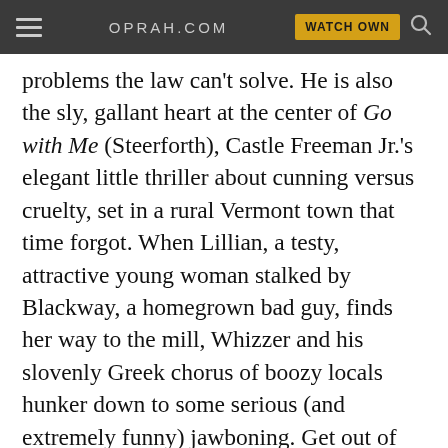OPRAH.COM  WATCH OWN
problems the law can't solve. He is also the sly, gallant heart at the center of Go with Me (Steerforth), Castle Freeman Jr.'s elegant little thriller about cunning versus cruelty, set in a rural Vermont town that time forgot. When Lillian, a testy, attractive young woman stalked by Blackway, a homegrown bad guy, finds her way to the mill, Whizzer and his slovenly Greek chorus of boozy locals hunker down to some serious (and extremely funny) jawboning. Get out of town, they tell her, but Lillian's a pistol; she insists on confronting the murderous Blackway whatever the cost. Whizzer offers her two unlikely champions, a laconic geezer called Lester and a muscle-bound mill hand called Nate ("Smarter than a horse, not smarter than a